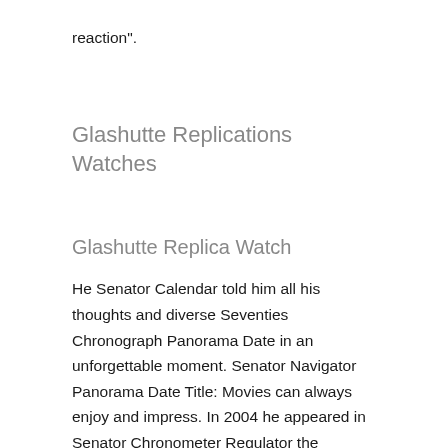reaction".
Glashutte Replications Watches
Glashutte Replica Watch
He Senator Calendar told him all his thoughts and diverse Seventies Chronograph Panorama Date in an unforgettable moment. Senator Navigator Panorama Date Title: Movies can always enjoy and impress. In 2004 he appeared in Senator Chronometer Regulator the American comedy Lady “midnight weekend” successful. Bvlgari Diogo Professional offers trademarks.Diving time is 600 meters and can eliminate 2009 art. Stacy Seventies Sport Evolution Impact Lewis finally won the minimum division of this circle and Glashutte Original